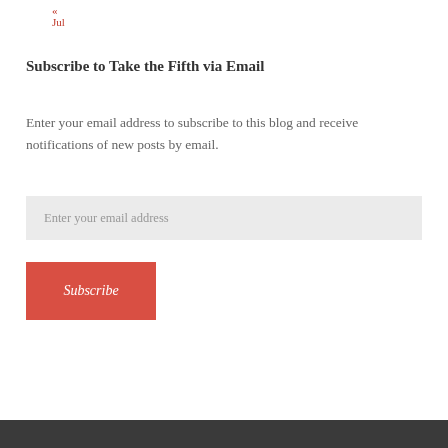« Jul
Subscribe to Take the Fifth via Email
Enter your email address to subscribe to this blog and receive notifications of new posts by email.
Enter your email address
Subscribe